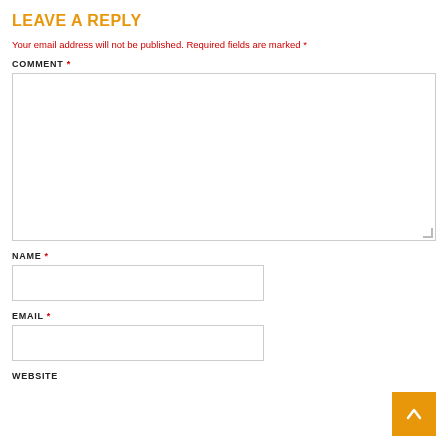LEAVE A REPLY
Your email address will not be published. Required fields are marked *
COMMENT *
[Figure (other): Large textarea input box for comment entry with resize handle]
NAME *
[Figure (other): Text input box for name entry]
EMAIL *
[Figure (other): Text input box for email entry]
WEBSITE
[Figure (other): Back to top button with arrow icon, orange background]